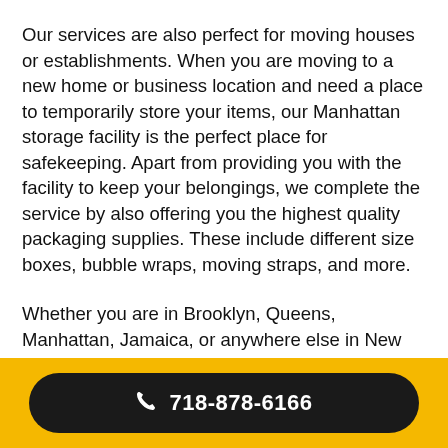Our services are also perfect for moving houses or establishments. When you are moving to a new home or business location and need a place to temporarily store your items, our Manhattan storage facility is the perfect place for safekeeping. Apart from providing you with the facility to keep your belongings, we complete the service by also offering you the highest quality packaging supplies. These include different size boxes, bubble wraps, moving straps, and more.
Whether you are in Brooklyn, Queens, Manhattan, Jamaica, or anywhere else in New York City and in need of self-storage, please feel free to contact us so that we can provide you the exact storage services you are looking for.
718-878-6166